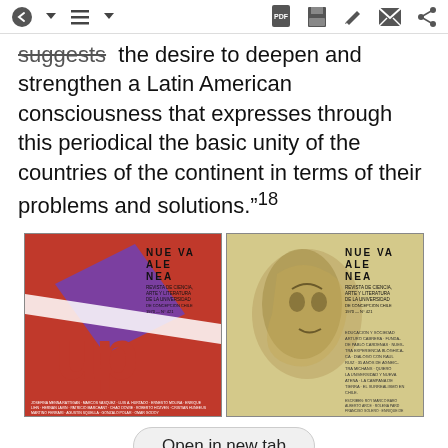toolbar with navigation and action icons
suggests the desire to deepen and strengthen a Latin American consciousness that expresses through this periodical the basic unity of the countries of the continent in terms of their problems and solutions.”¹18
[Figure (photo): Two magazine covers of Nueva Alenea - Revista de Ciencia, Arte y Literatura de la Universidad de Concepcion, Chile. Left cover is red/orange with bold graphic design featuring purple and white geometric shapes and red stylized letters. Right cover is beige/sepia-toned with an illustration of a face and similar Nueva Alenea masthead text.]
Open in new tab